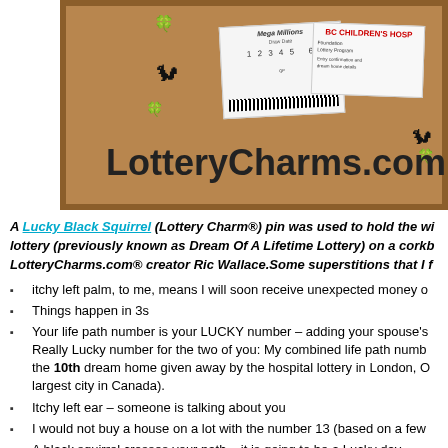[Figure (photo): A corkboard with lottery tickets and squirrel pins, displaying the text 'LotteryCharms.com' at the bottom]
A Lucky Black Squirrel (Lottery Charm®) pin was used to hold the winning lottery (previously known as Dream Of A Lifetime Lottery) on a corkboard by LotteryCharms.com® creator Ric Wallace.Some superstitions that I f
itchy left palm, to me, means I will soon receive unexpected money o
Things happen in 3s
Your life path number is your LUCKY number – adding your spouse's Really Lucky number for the two of you: My combined life path numb the 10th dream home given away by the hospital lottery in London, O largest city in Canada).
Itchy left ear – someone is talking about you
I would not buy a house on a lot with the number 13 (based on a few
A black squirrel crosses your path – it is going to be a Lucky day
Seeing a rabbit in the wild is a sign of Luck